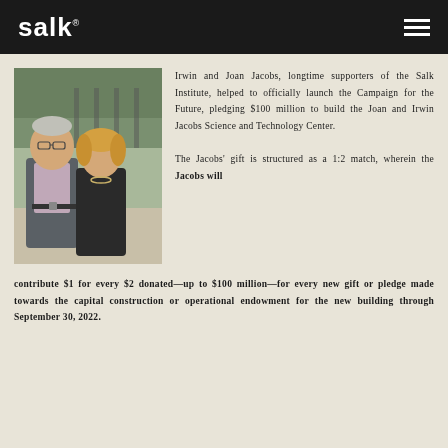salk.
[Figure (photo): Photo of Irwin and Joan Jacobs, a man in a gray suit and a woman in a black outfit, standing together outdoors]
Irwin and Joan Jacobs, longtime supporters of the Salk Institute, helped to officially launch the Campaign for the Future, pledging $100 million to build the Joan and Irwin Jacobs Science and Technology Center.

The Jacobs' gift is structured as a 1:2 match, wherein the Jacobs will contribute $1 for every $2 donated—up to $100 million—for every new gift or pledge made towards the capital construction or operational endowment for the new building through September 30, 2022.